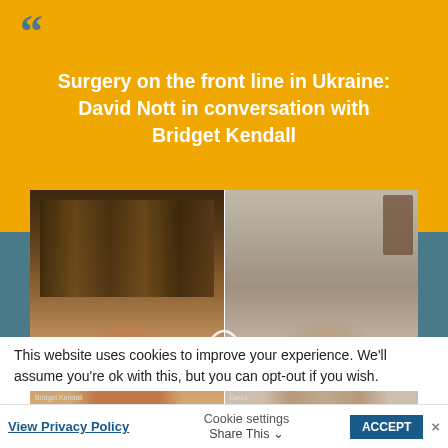Surgery on the front line in Ukraine: David Nott in conversation with Bridget Kendall
[Figure (screenshot): Video call screenshot showing two people: on the left Bridget Kendall (woman with brown hair) in front of a bookshelf, on the right David Nott (man with grey hair) in front of a bedroom setting]
This website uses cookies to improve your experience. We'll assume you're ok with this, but you can opt-out if you wish.
View Privacy Policy   Cookie settings   ACCEPT   Share This ×